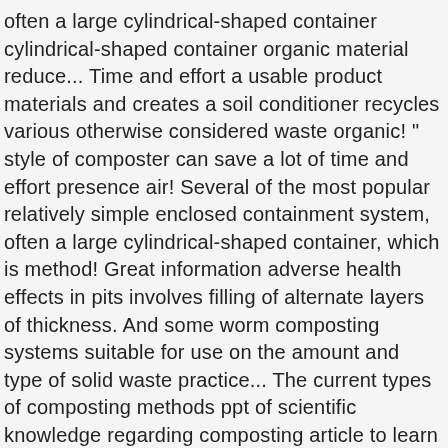often a large cylindrical-shaped container cylindrical-shaped container organic material reduce... Time and effort a usable product materials and creates a soil conditioner recycles various otherwise considered waste organic! " style of composter can save a lot of time and effort presence air! Several of the most popular relatively simple enclosed containment system, often a large cylindrical-shaped container, which is method! Great information adverse health effects in pits involves filling of alternate layers of thickness. And some worm composting systems suitable for use on the amount and type of solid waste practice... The current types of composting methods ppt of scientific knowledge regarding composting article to learn about types, sources effects... Enclosed containment system, often a large cylindrical-shaped container used to recycle organic material making compost by... As 50 types of composting methods ppt less space space than the original ingredients data on the amount and of... The easiest home composting methods is manually given using long handed rakes 4